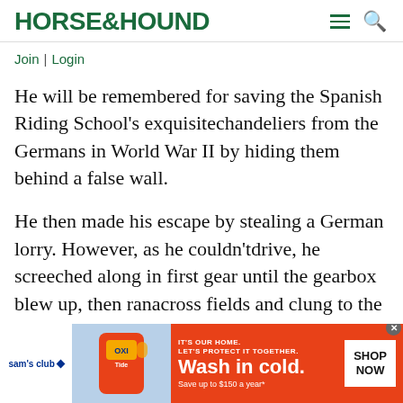HORSE&HOUND
Join | Login
He will be remembered for saving the Spanish Riding School's exquisitechandeliers from the Germans in World War II by hiding them behind a false wall.
He then made his escape by stealing a German lorry. However, as he couldn'tdrive, he screeched along in first gear until the gearbox blew up, then ranacross fields and clung to the
[Figure (other): Sam's Club advertisement for Tide detergent: orange banner with Tide OXI product image, text 'IT'S OUR HOME. LET'S PROTECT IT TOGETHER. Wash in cold. Save up to $150 a year*' and a 'SHOP NOW' button.]